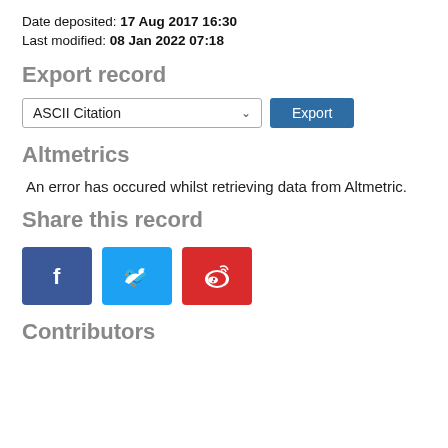Date deposited: 17 Aug 2017 16:30
Last modified: 08 Jan 2022 07:18
Export record
ASCII Citation [dropdown] Export [button]
Altmetrics
An error has occured whilst retrieving data from Altmetric.
Share this record
[Figure (other): Social share buttons: Facebook (blue), Twitter (light blue), Weibo (red)]
Contributors